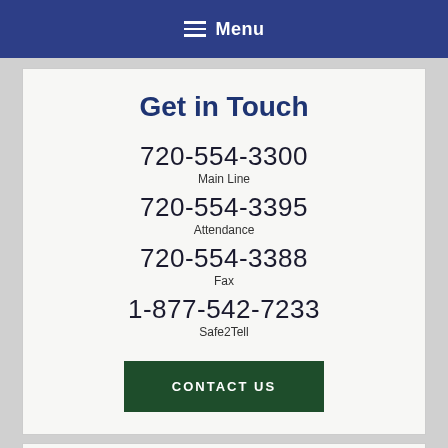Menu
Get in Touch
720-554-3300
Main Line
720-554-3395
Attendance
720-554-3388
Fax
1-877-542-7233
Safe2Tell
CONTACT US